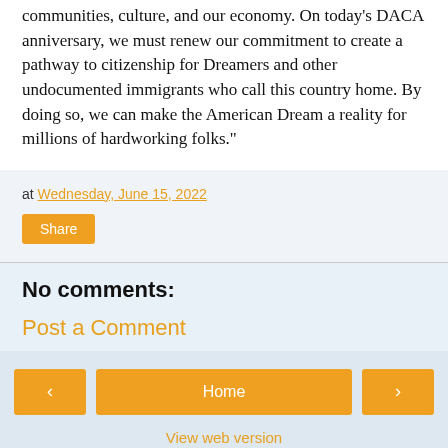communities, culture, and our economy. On today's DACA anniversary, we must renew our commitment to create a pathway to citizenship for Dreamers and other undocumented immigrants who call this country home. By doing so, we can make the American Dream a reality for millions of hardworking folks."
at Wednesday, June 15, 2022
Share
No comments:
Post a Comment
Home
View web version
Powered by Blogger.